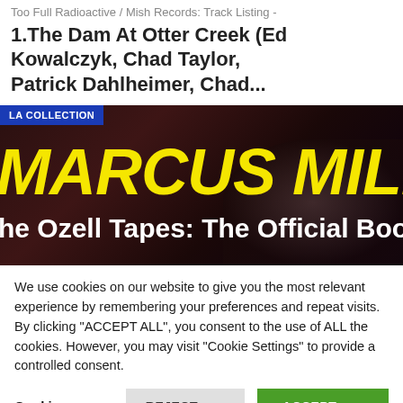Too Full Radioactive / Mish Records: Track Listing -
1.The Dam At Otter Creek (Ed Kowalczyk, Chad Taylor, Patrick Dahlheimer, Chad...
[Figure (photo): Marcus Miller album promo image: dark red/black background with musician silhouette. Blue 'LA COLLECTION' badge top-left. Large yellow bold italic text 'MARCUS MILLER' and white subtitle text 'he Ozell Tapes: The Official Bootle']
We use cookies on our website to give you the most relevant experience by remembering your preferences and repeat visits. By clicking "ACCEPT ALL", you consent to the use of ALL the cookies. However, you may visit "Cookie Settings" to provide a controlled consent.
Cookie Settings   REJECT ALL   ACCEPT ALL